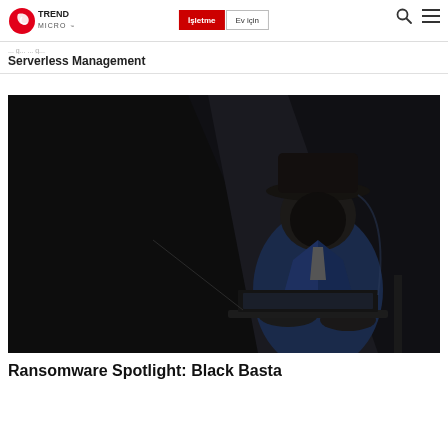Trend Micro | İşletme | Ev için
Serverless Management
[Figure (photo): A person in a dark fedora hat and blue suit typing on a laptop in a dark, shadowy environment — suggestive of a hacker or cybercriminal.]
Ransomware Spotlight: Black Basta